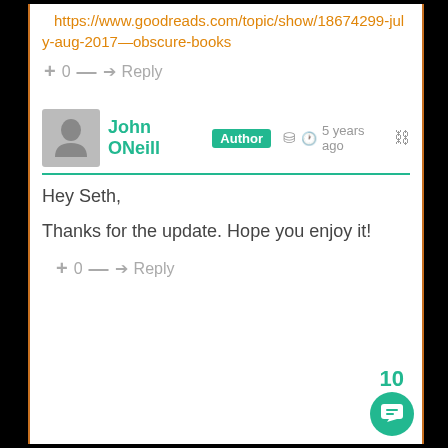https://www.goodreads.com/topic/show/18674299-july-aug-2017—obscure-books
+ 0 — → Reply
John ONeill Author 5 years ago
Hey Seth,

Thanks for the update. Hope you enjoy it!
+ 0 — → Reply
10